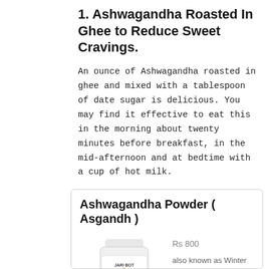1. Ashwagandha Roasted In Ghee to Reduce Sweet Cravings.
An ounce of Ashwagandha roasted in ghee and mixed with a tablespoon of date sugar is delicious. You may find it effective to eat this in the morning about twenty minutes before breakfast, in the mid-afternoon and at bedtime with a cup of hot milk.
[Figure (other): Product card showing Ashwagandha Powder (Asgandh) supplement bottle by JARI BOT brand, priced at Rs 800, described as also known as Winter Cherry, Indian Ginseng, with Urdu text.]